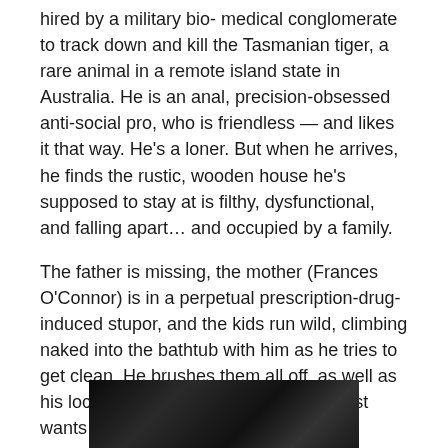hired by a military bio- medical conglomerate to track down and kill the Tasmanian tiger, a rare animal in a remote island state in Australia. He is an anal, precision-obsessed anti-social pro, who is friendless — and likes it that way. He's a loner. But when he arrives, he finds the rustic, wooden house he's supposed to stay at is filthy, dysfunctional, and falling apart… and occupied by a family.
The father is missing, the mother (Frances O'Connor) is in a perpetual prescription-drug-induced stupor, and the kids run wild, climbing naked into the bathtub with him as he tries to get clean. He brushes them all off, as well as his local guide, Jack (Sam Neill) – he just wants to catch the Tazzie tiger.
But, gradually he adjusts to family life. He helps the mom
[Figure (photo): Dark photo, partially visible at the bottom of the page, showing a dark background with faint shapes]